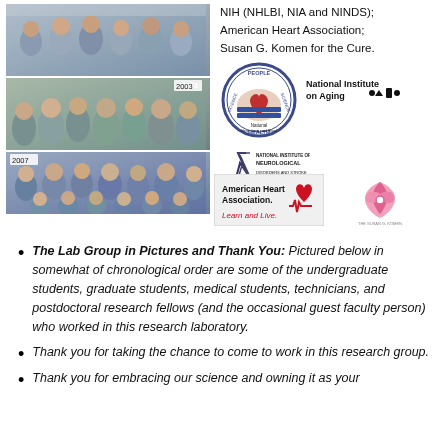[Figure (photo): Three group photos of a research lab over the years, stacked vertically on the left side. Top photo shows a group of people. Middle photo (labeled 2003) shows another group. Bottom photo (labeled 2007) shows another group.]
NIH (NHLBI, NIA and NINDS);
American Heart Association;
Susan G. Komen for the Cure.
[Figure (logo): National Heart, Lung, and Blood Institute logo (NHLBI) - circular seal with People Science Health text]
[Figure (logo): National Institute on Aging logo]
[Figure (logo): National Institute of Neurological Disorders and Stroke logo]
[Figure (logo): American Heart Association - Learn and Live logo]
[Figure (logo): Susan G. Komen for the Cure pink ribbon logo]
The Lab Group in Pictures and Thank You: Pictured below in somewhat of chronological order are some of the undergraduate students, graduate students, medical students, technicians, and postdoctoral research fellows (and the occasional guest faculty person) who worked in this research laboratory.
Thank you for taking the chance to come to work in this research group.
Thank you for embracing our science and owning it as your